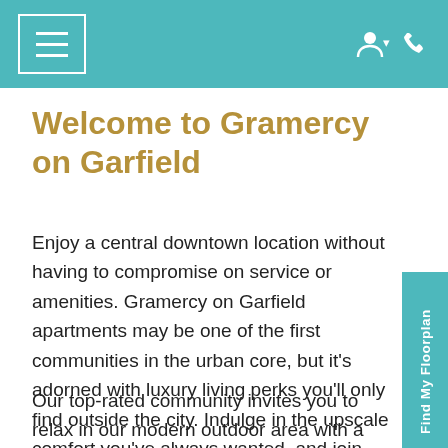Navigation header with menu button and icons
Welcome to Gramercy on Garfield
Enjoy a central downtown location without having to compromise on service or amenities. Gramercy on Garfield apartments may be one of the first communities in the urban core, but it's adorned with luxury living perks you'll only find outside the city. Indulge in the upscale comfort you've always wanted, and join our apartments in downtown Cincinnati today!
Our top-rated community invites you to relax in our modern outdoor area with a sparkling pool, fountain,